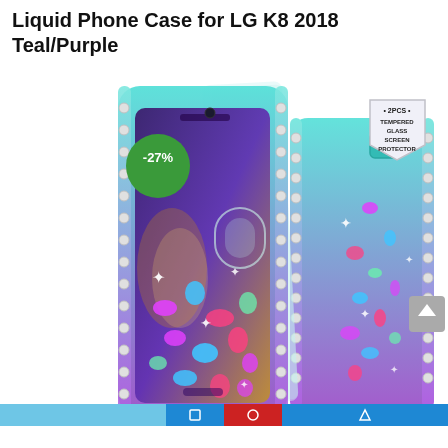Liquid Phone Case for LG K8 2018 Teal/Purple
[Figure (photo): Product photo of a teal and purple glitter liquid phone case for LG K8 2018, showing the case from front and back angles. The case features diamond-studded edges, a liquid glitter interior with colorful hearts and sparkles. A -27% discount badge in green is overlaid on the upper left. A badge on the upper right shows 2PCS Tempered Glass Screen Protector. Bottom navigation bar with teal, blue, and red segments is visible.]